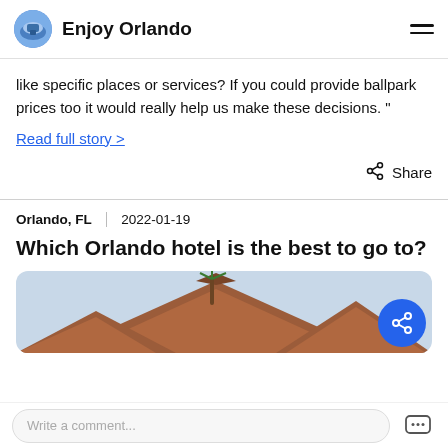Enjoy Orlando
like specific places or services? If you could provide ballpark prices too it would really help us make these decisions. "
Read full story >
Share
Orlando, FL  2022-01-19
Which Orlando hotel is the best to go to?
[Figure (photo): Partial view of a hotel building exterior with a brown/terracotta roof and a palm tree against a light sky background.]
Write a comment...